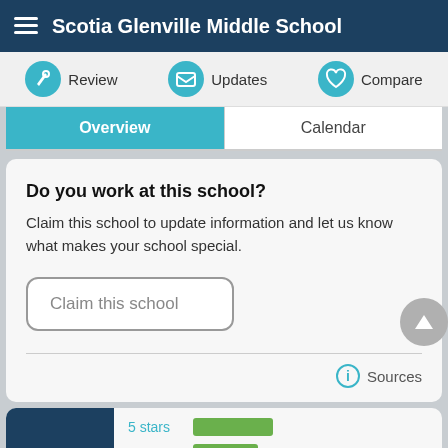Scotia Glenville Middle School
Review   Updates   Compare
Overview   Calendar
Do you work at this school?
Claim this school to update information and let us know what makes your school special.
Claim this school
Sources
5 stars   4 stars